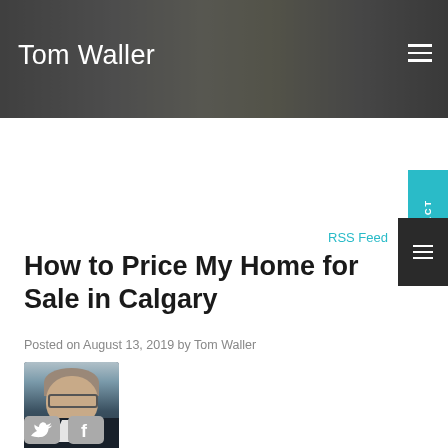Tom Waller
RSS Feed
How to Price My Home for Sale in Calgary
Posted on August 13, 2019 by Tom Waller
[Figure (photo): Author headshot photo of Tom Waller, a middle-aged man with glasses]
[Figure (other): Twitter and Facebook social sharing icons]